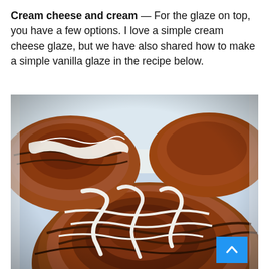Cream cheese and cream — For the glaze on top, you have a few options. I love a simple cream cheese glaze, but we have also shared how to make a simple vanilla glaze in the recipe below.
[Figure (photo): Close-up photo of cinnamon rolls with white cream cheese glaze drizzled on top, displayed in a white baking dish. The rolls are golden-brown with visible cinnamon swirls.]